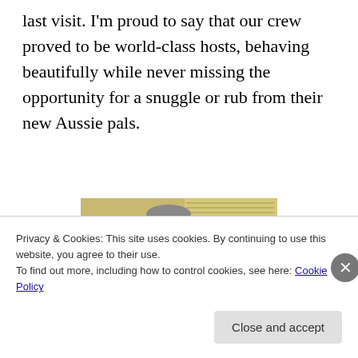last visit.  I'm proud to say that our crew proved to be world-class hosts, behaving beautifully while never missing the opportunity for a snuggle or rub from their new Aussie pals.
[Figure (photo): A man sitting in a red chair interacting with a large dark-colored dog wearing a red harness, in an indoor setting with blinds in the background.]
Privacy & Cookies: This site uses cookies. By continuing to use this website, you agree to their use.
To find out more, including how to control cookies, see here: Cookie Policy